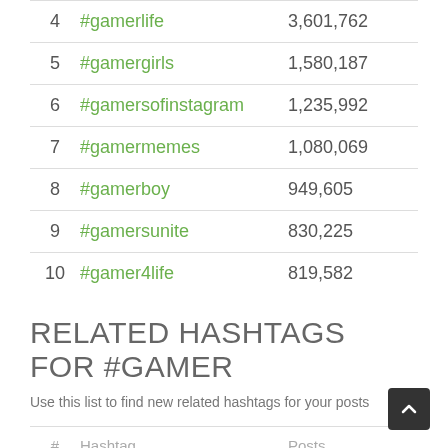| # | Hashtag | Posts |
| --- | --- | --- |
| 4 | #gamerlife | 3,601,762 |
| 5 | #gamergirls | 1,580,187 |
| 6 | #gamersofinstagram | 1,235,992 |
| 7 | #gamermemes | 1,080,069 |
| 8 | #gamerboy | 949,605 |
| 9 | #gamersunite | 830,225 |
| 10 | #gamer4life | 819,582 |
RELATED HASHTAGS FOR #GAMER
Use this list to find new related hashtags for your posts
| # | Hashtag | Posts |
| --- | --- | --- |